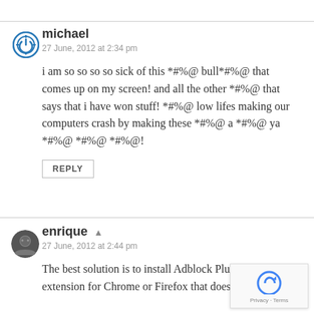michael
27 June, 2012 at 2:34 pm
i am so so so so sick of this *#%@ bull*#%@ that comes up on my screen! and all the other *#%@ that says that i have won stuff! *#%@ low lifes making our computers crash by making these *#%@ a *#%@ ya *#%@ *#%@ *#%@!
REPLY
enrique
27 June, 2012 at 2:44 pm
The best solution is to install Adblock Plus. It's a extension for Chrome or Firefox that does a